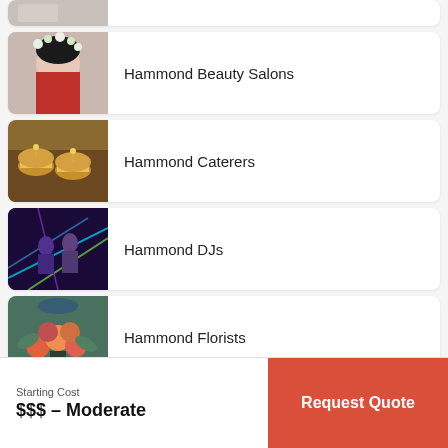Hammond Beauty Salons
Hammond Caterers
Hammond DJs
Hammond Florists
Starting Cost
$$$ – Moderate
Request Quote